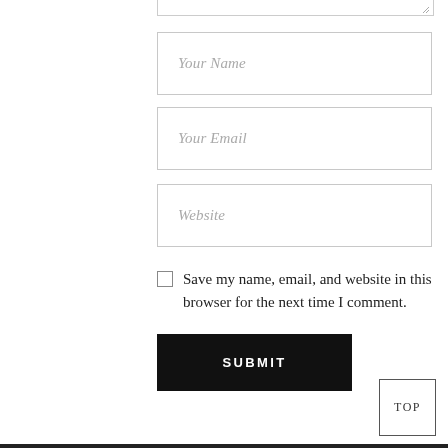Your Name
Your Email
Website
Save my name, email, and website in this browser for the next time I comment.
SUBMIT
TOP